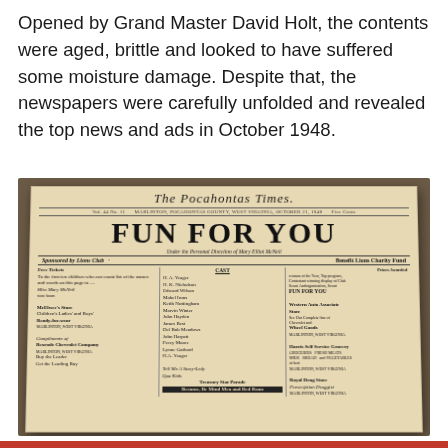Opened by Grand Master David Holt, the contents were aged, brittle and looked to have suffered some moisture damage. Despite that, the newspapers were carefully unfolded and revealed the top news and ads in October 1948.
[Figure (photo): Photograph of an aged, yellowed newspaper called 'The Pocahontas Times' lying on a wooden surface. The newspaper features a large headline 'FUN FOR YOU', with text indicating it is sponsored by Lions Club and benefits Lions Charity Fund, under the personal direction of Mary Elliot McNeil. A cast list and various advertisements are visible in columns below the headline.]